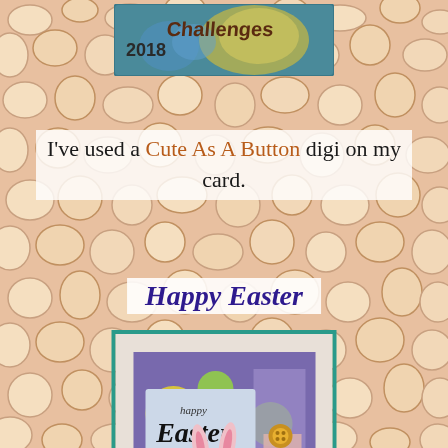[Figure (illustration): Giraffe-pattern background in peach/salmon tones with irregular stone-like patches in cream and brown outlines]
[Figure (logo): Logo banner reading '2018 Challenges' with teal/blue border on a moonlit illustrated background]
I've used a Cute As A Button digi on my card.
Happy Easter
[Figure (photo): Handmade Easter card featuring a girl with bunny ears, 'happy Easter' text in script, purple background with colorful circles and rectangles, green and yellow buttons as embellishments]